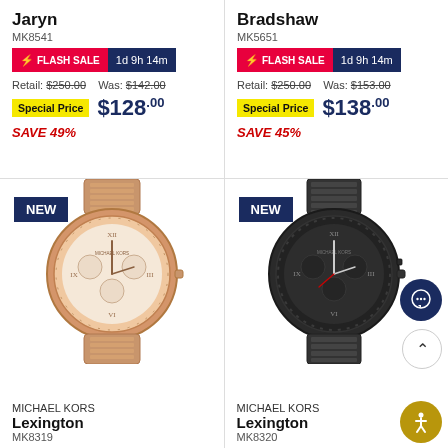Jaryn
MK8541
FLASH SALE 1d 9h 14m
Retail: $250.00   Was: $142.00
Special Price $128.00
SAVE 49%
Bradshaw
MK5651
FLASH SALE 1d 9h 14m
Retail: $250.00   Was: $153.00
Special Price $138.00
SAVE 45%
[Figure (photo): Rose gold Michael Kors Lexington watch with roman numeral dial and chronograph subdials]
MICHAEL KORS
Lexington
MK8319
[Figure (photo): Black Michael Kors Lexington watch with dark dial and chronograph subdials]
MICHAEL KORS
Lexington
MK8320